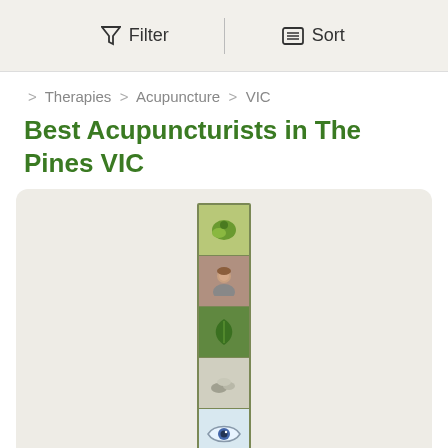Filter   Sort
Therapies > Acupuncture > VIC
Best Acupuncturists in The Pines VIC
[Figure (photo): Vertical strip of 5 thumbnail images (herb/plant, person portrait, green leaf/plant, stones, eye) with olive-green border inside a light beige card. Pagination shows '1 of 1' below.]
Karen